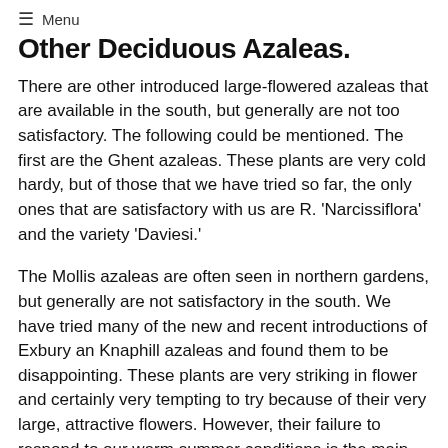≡ Menu
Other Deciduous Azaleas.
There are other introduced large-flowered azaleas that are available in the south, but generally are not too satisfactory. The following could be mentioned. The first are the Ghent azaleas. These plants are very cold hardy, but of those that we have tried so far, the only ones that are satisfactory with us are R. 'Narcissiflora' and the variety 'Daviesi.'
The Mollis azaleas are often seen in northern gardens, but generally are not satisfactory in the south. We have tried many of the new and recent introductions of Exbury an Knaphill azaleas and found them to be disappointing. These plants are very striking in flower and certainly very tempting to try because of their very large, attractive flowers. However, their failure to respond to our warm summer conditions is the main drawback.